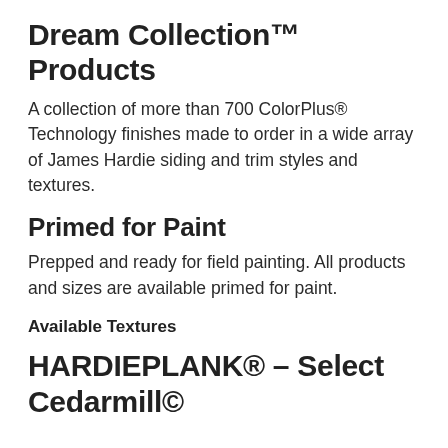Dream Collection™ Products
A collection of more than 700 ColorPlus® Technology finishes made to order in a wide array of James Hardie siding and trim styles and textures.
Primed for Paint
Prepped and ready for field painting. All products and sizes are available primed for paint.
Available Textures
HARDIEPLANK® – Select Cedarmill©